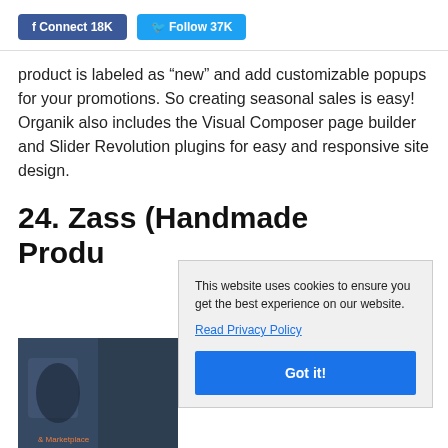Connect 18K   Follow 37K
product is labeled as “new” and add customizable popups for your promotions. So creating seasonal sales is easy! Organik also includes the Visual Composer page builder and Slider Revolution plugins for easy and responsive site design.
24. Zass (Handmade Produ
[Figure (photo): Partial photo of a person working with handmade items, partially obscured by cookie consent popup]
This website uses cookies to ensure you get the best experience on our website.
Read Privacy Policy
Got it!